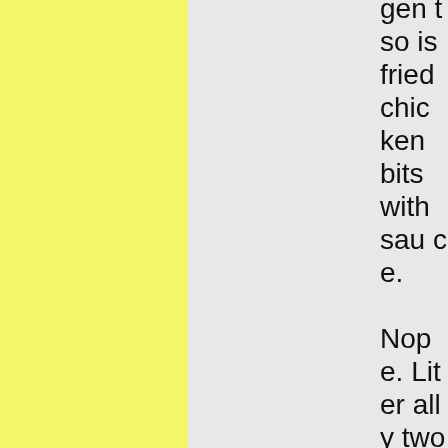gen tso is fried chicken bits with sauce.

Nope. Literally two bags of cauliflower florets